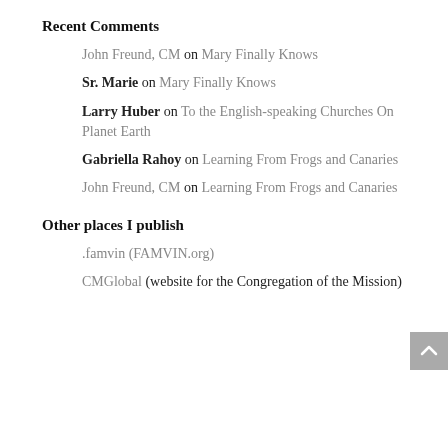Recent Comments
John Freund, CM on Mary Finally Knows
Sr. Marie on Mary Finally Knows
Larry Huber on To the English-speaking Churches On Planet Earth
Gabriella Rahoy on Learning From Frogs and Canaries
John Freund, CM on Learning From Frogs and Canaries
Other places I publish
.famvin (FAMVIN.org)
CMGlobal (website for the Congregation of the Mission)